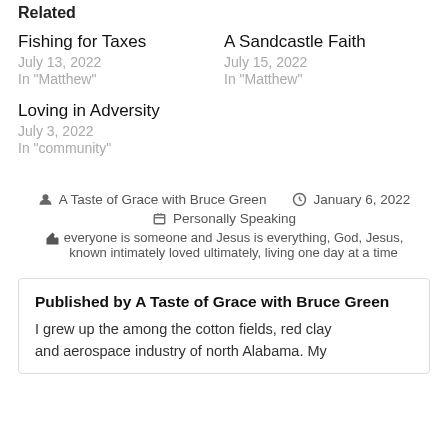Related
Fishing for Taxes
July 13, 2022
In "Matthew"
A Sandcastle Faith
July 15, 2022
In "Matthew"
Loving in Adversity
July 3, 2022
In "community"
A Taste of Grace with Bruce Green  January 6, 2022  Personally Speaking
everyone is someone and Jesus is everything, God, Jesus, known intimately loved ultimately, living one day at a time
Published by A Taste of Grace with Bruce Green
I grew up the among the cotton fields, red clay and aerospace industry of north Alabama. My